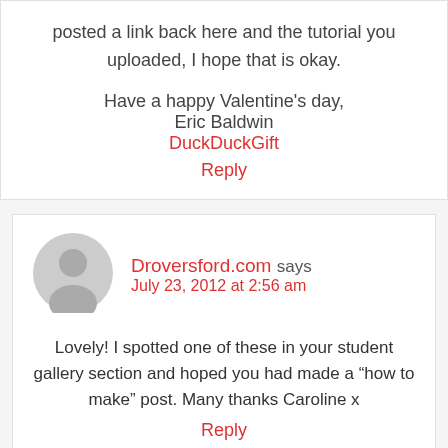posted a link back here and the tutorial you uploaded, I hope that is okay.

Have a happy Valentine's day,
Eric Baldwin
DuckDuckGift
Reply
Droversford.com says
July 23, 2012 at 2:56 am
Lovely! I spotted one of these in your student gallery section and hoped you had made a “how to make” post. Many thanks Caroline x
Reply